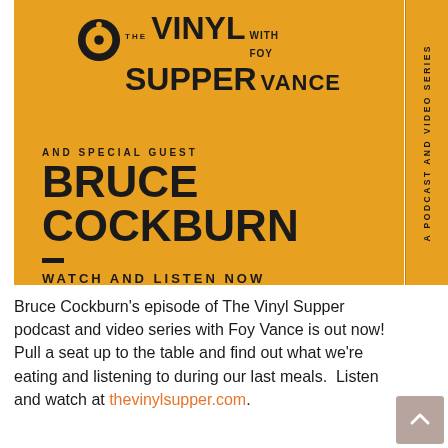[Figure (illustration): Promotional poster for The Vinyl Supper with Foy Vance podcast and video series featuring special guest Bruce Cockburn. Orange background with bold black typography. Includes vinyl record icon. Text reads: AND SPECIAL GUEST / BRUCE COCKBURN / WATCH AND LISTEN NOW. Right side strip reads: A PODCAST AND VIDEO SERIES.]
Bruce Cockburn's episode of The Vinyl Supper podcast and video series with Foy Vance is out now! Pull a seat up to the table and find out what we're eating and listening to during our last meals. Listen and watch at thevinylsupper.com.